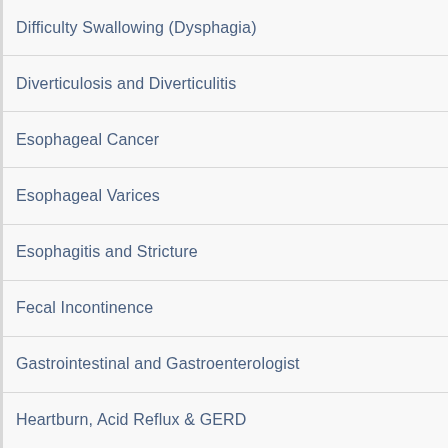Difficulty Swallowing (Dysphagia)
Diverticulosis and Diverticulitis
Esophageal Cancer
Esophageal Varices
Esophagitis and Stricture
Fecal Incontinence
Gastrointestinal and Gastroenterologist
Heartburn, Acid Reflux & GERD